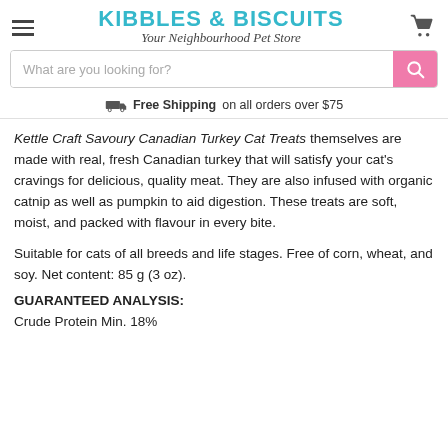KIBBLES & BISCUITS — Your Neighbourhood Pet Store
Kettle Craft Savoury Canadian Turkey Cat Treats themselves are made with real, fresh Canadian turkey that will satisfy your cat's cravings for delicious, quality meat. They are also infused with organic catnip as well as pumpkin to aid digestion. These treats are soft, moist, and packed with flavour in every bite.
Suitable for cats of all breeds and life stages. Free of corn, wheat, and soy. Net content: 85 g (3 oz).
GUARANTEED ANALYSIS:
Crude Protein Min. 18%